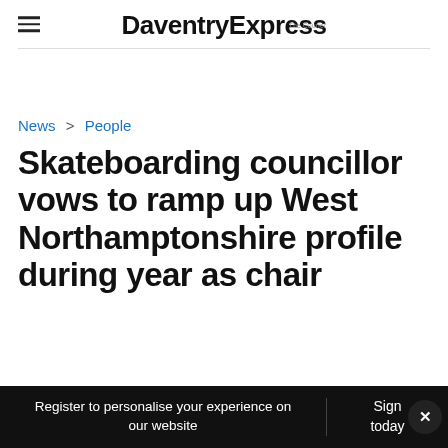DaventryExpress
News > People
Skateboarding councillor vows to ramp up West Northamptonshire profile during year as chair
Register to personalise your experience on our website  Sign today